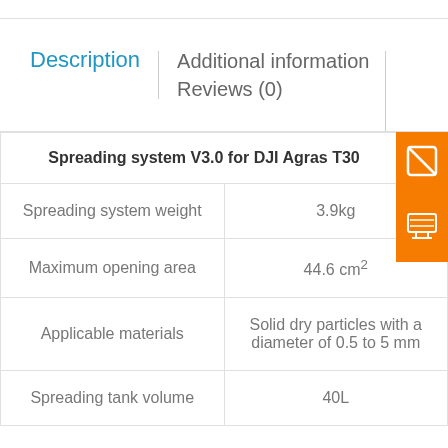Description | Additional information
Reviews (0)
| Spreading system V3.0 for DJI Agras T30 |  |
| --- | --- |
| Spreading system weight | 3.9kg |
| Maximum opening area | 44.6 cm² |
| Applicable materials | Solid dry particles with a diameter of 0.5 to 5 mm |
| Spreading tank volume | 40L |